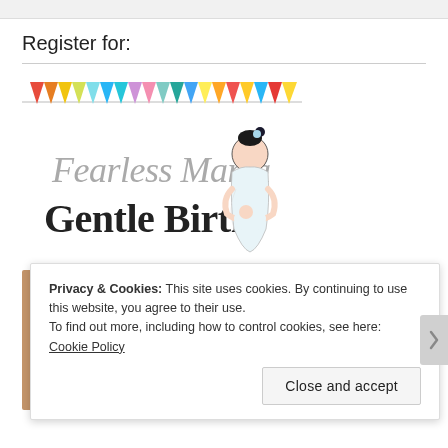Register for:
[Figure (illustration): Fearless Mama Gentle Birth logo with colorful bunting flags at top and illustration of pregnant woman holding a baby]
[Figure (photo): Close-up photo of baby eyes]
Privacy & Cookies: This site uses cookies. By continuing to use this website, you agree to their use.
To find out more, including how to control cookies, see here: Cookie Policy
Close and accept